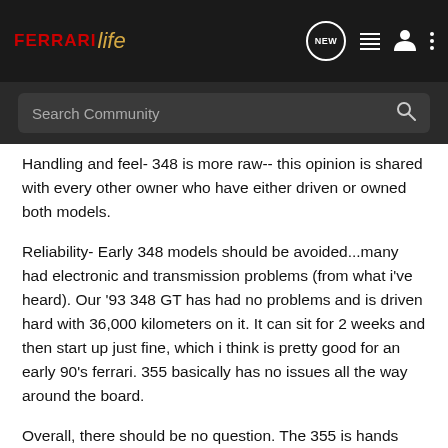FERRARI life — NEW [navigation icons]
Search Community
Handling and feel- 348 is more raw-- this opinion is shared with every other owner who have either driven or owned both models.
Reliability- Early 348 models should be avoided...many had electronic and transmission problems (from what i've heard). Our '93 348 GT has had no problems and is driven hard with 36,000 kilometers on it. It can sit for 2 weeks and then start up just fine, which i think is pretty good for an early 90's ferrari. 355 basically has no issues all the way around the board.
Overall, there should be no question. The 355 is hands down a better car than the 348...but at a price. A good 348 can be had for $50k. I think the GTS is the model to have in either form.